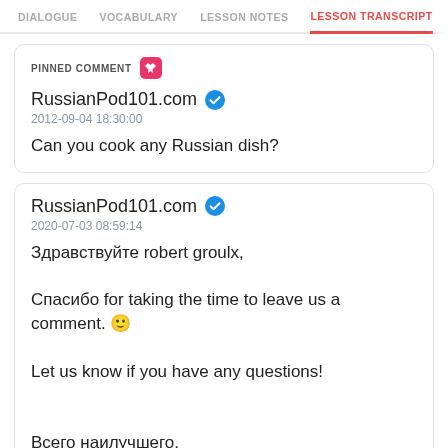DIALOGUE  VOCABULARY  LESSON NOTES  LESSON TRANSCRIPT  C
PINNED COMMENT
RussianPod101.com
2012-09-04 18:30:00
Can you cook any Russian dish?
RussianPod101.com
2020-07-03 08:59:14
Здравствуйте robert groulx,

Спасибо for taking the time to leave us a comment. 😊

Let us know if you have any questions!


Всего наилучшего,